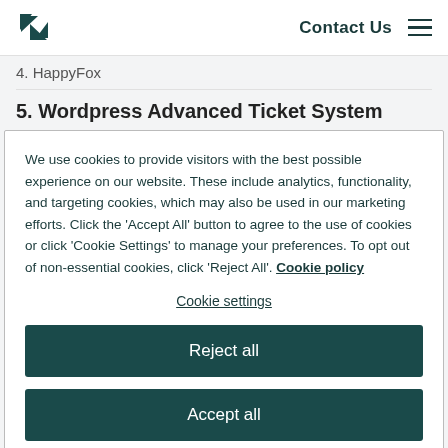Contact Us
4. HappyFox
5. Wordpress Advanced Ticket System
6. Help Scout
We use cookies to provide visitors with the best possible experience on our website. These include analytics, functionality, and targeting cookies, which may also be used in our marketing efforts. Click the 'Accept All' button to agree to the use of cookies or click 'Cookie Settings' to manage your preferences. To opt out of non-essential cookies, click 'Reject All'. Cookie policy
Cookie settings
Reject all
Accept all